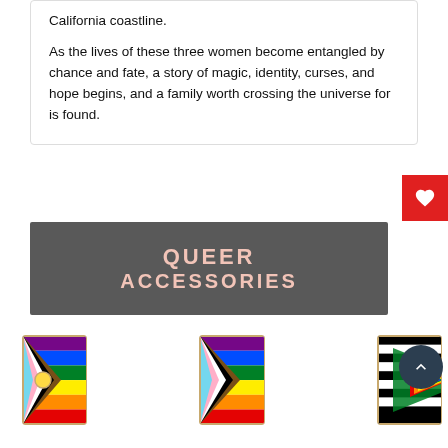California coastline.

As the lives of these three women become entangled by chance and fate, a story of magic, identity, curses, and hope begins, and a family worth crossing the universe for is found.
[Figure (illustration): Dark red heart/like button icon in red square]
[Figure (illustration): Dark grey banner with pink text reading QUEER ACCESSORIES]
[Figure (photo): Three pride flag enamel pins: Progress Pride flag pin, another Progress Pride flag pin, and a Straight Ally flag pin with triangle]
[Figure (illustration): Dark navy circle with upward chevron arrow (scroll to top button)]